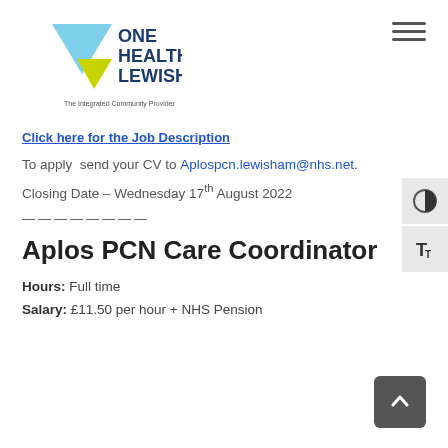[Figure (logo): One Health Lewisham logo with blue and yellow/green triangles and text 'ONE HEALTH LEWISHAM The Integrated Community Provider']
Click here for the Job Description
To apply send your CV to Aplospcn.lewisham@nhs.net.
Closing Date – Wednesday 17th August 2022
————————
Aplos PCN Care Coordinator
Hours: Full time
Salary: £11.50 per hour + NHS Pension